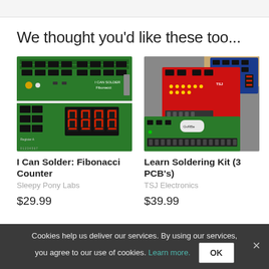We thought you'd like these too...
[Figure (photo): Green PCB circuit board - I Can Solder Fibonacci Counter kit, showing assembled and unassembled board with 7-segment display]
I Can Solder: Fibonacci Counter
Sleepy Pony Labs
$29.99
[Figure (photo): Multiple PCBs for Learn Soldering Kit (3 PCB's) by TSJ Electronics - red, blue, and green circuit boards]
Learn Soldering Kit (3 PCB's)
TSJ Electronics
$39.99
Cookies help us deliver our services. By using our services, you agree to our use of cookies. Learn more. OK